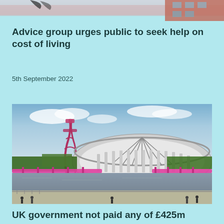[Figure (photo): Partial view of a building with residential architecture and sky, cropped at top of page]
Advice group urges public to seek help on cost of living
5th September 2022
[Figure (photo): Panoramic view of the London Olympic Stadium (now London Stadium) with the ArcelorMittal Orbit sculpture on the left, a river/canal in the foreground with bridges, trees, and people walking along the promenade]
UK government not paid any of £425m